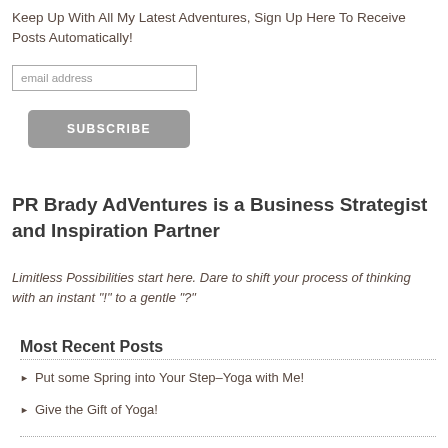Keep Up With All My Latest Adventures, Sign Up Here To Receive Posts Automatically!
email address
SUBSCRIBE
PR Brady AdVentures is a Business Strategist and Inspiration Partner
Limitless Possibilities start here. Dare to shift your process of thinking with an instant "!" to a gentle "?"
Most Recent Posts
Put some Spring into Your Step–Yoga with Me!
Give the Gift of Yoga!